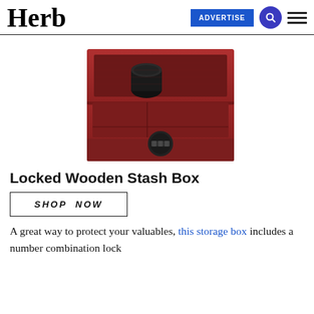Herb | ADVERTISE
[Figure (photo): A dark red mahogany wooden stash box with combination lock, open lid showing interior compartments, and a small black cylindrical container inside]
Locked Wooden Stash Box
SHOP NOW
A great way to protect your valuables, this storage box includes a number combination lock